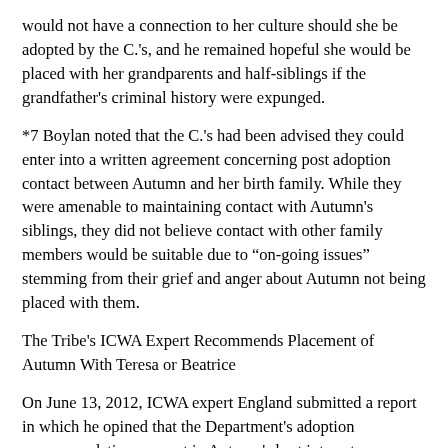would not have a connection to her culture should she be adopted by the C.'s, and he remained hopeful she would be placed with her grandparents and half-siblings if the grandfather's criminal history were expunged.
*7 Boylan noted that the C.'s had been advised they could enter into a written agreement concerning post adoption contact between Autumn and her birth family. While they were amenable to maintaining contact with Autumn's siblings, they did not believe contact with other family members would be suitable due to “on-going issues” stemming from their grief and anger about Autumn not being placed with them.
The Tribe's ICWA Expert Recommends Placement of Autumn With Teresa or Beatrice
On June 13, 2012, ICWA expert England submitted a report in which he opined that the Department's adoption recommendation was not in Autumn's best interest as required by ICWA. As he explained it: "When an Indian child is removed from the home and adoption or guardianship is in question, the child should be placed